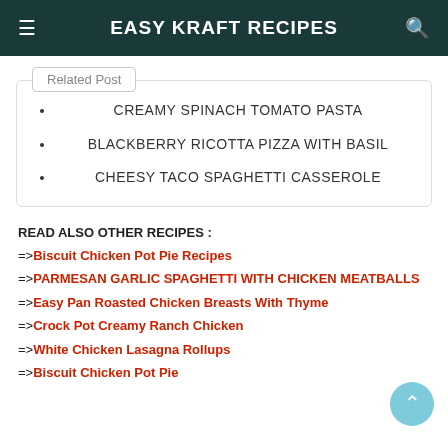EASY KRAFT RECIPES
Related Post
CREAMY SPINACH TOMATO PASTA
BLACKBERRY RICOTTA PIZZA WITH BASIL
CHEESY TACO SPAGHETTI CASSEROLE
READ ALSO OTHER RECIPES :
=>Biscuit Chicken Pot Pie Recipes
=>PARMESAN GARLIC SPAGHETTI WITH CHICKEN MEATBALLS
=>Easy Pan Roasted Chicken Breasts With Thyme
=>Crock Pot Creamy Ranch Chicken
=>White Chicken Lasagna Rollups
=>Biscuit Chicken Pot Pie